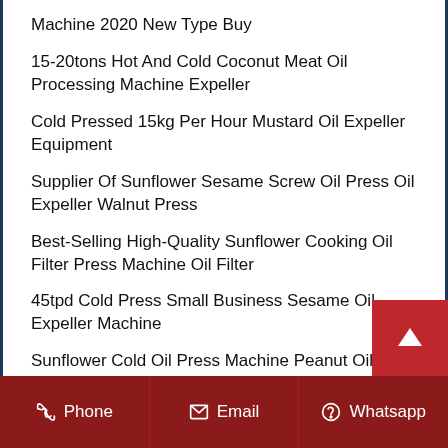Machine 2020 New Type Buy
15-20tons Hot And Cold Coconut Meat Oil Processing Machine Expeller
Cold Pressed 15kg Per Hour Mustard Oil Expeller Equipment
Supplier Of Sunflower Sesame Screw Oil Press Oil Expeller Walnut Press
Best-Selling High-Quality Sunflower Cooking Oil Filter Press Machine Oil Filter
45tpd Cold Press Small Business Sesame Oil Expeller Machine
Sunflower Cold Oil Press Machine Peanut Oil Press Machine
High Oil Extraction Machine Rate Long Wo…
Phone   Email   Whatsapp